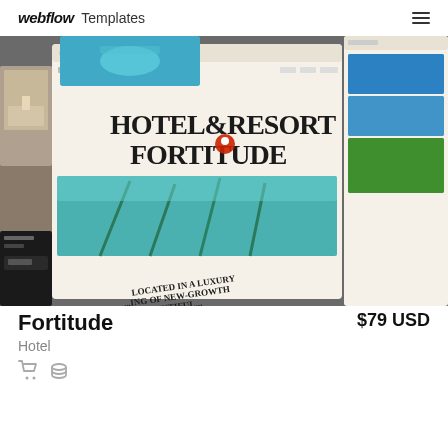webflow Templates
[Figure (screenshot): Screenshot of Webflow template marketplace showing the Fortitude hotel/resort website template preview with multiple overlapping browser mockups on a dark gray background. Main mockup shows 'HOTEL & RESORT FORTITUDE' in bold serif text with a red location pin icon, aerial beach/tropical photography, and partial text 'LOCATED IN A LUXURY ...ING OF NEW-GROWTH ...BEAUTIFUL ...']
Fortitude
Hotel
$79 USD